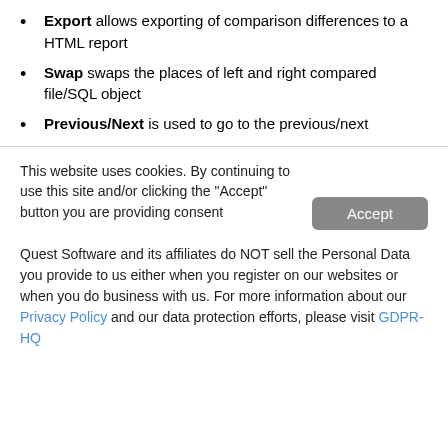Export allows exporting of comparison differences to a HTML report
Swap swaps the places of left and right compared file/SQL object
Previous/Next is used to go to the previous/next
This website uses cookies. By continuing to use this site and/or clicking the "Accept" button you are providing consent
Quest Software and its affiliates do NOT sell the Personal Data you provide to us either when you register on our websites or when you do business with us. For more information about our Privacy Policy and our data protection efforts, please visit GDPR-HQ